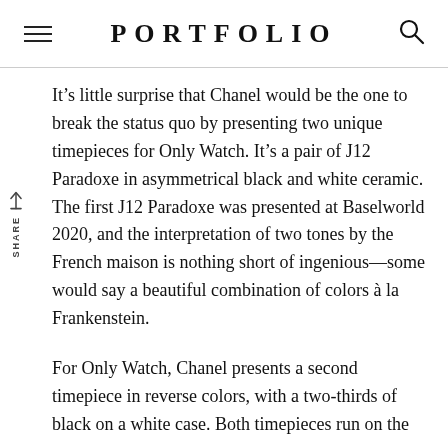PORTFOLIO
It’s little surprise that Chanel would be the one to break the status quo by presenting two unique timepieces for Only Watch. It’s a pair of J12 Paradoxe in asymmetrical black and white ceramic. The first J12 Paradoxe was presented at Baselworld 2020, and the interpretation of two tones by the French maison is nothing short of ingenious—some would say a beautiful combination of colors à la Frankenstein.
For Only Watch, Chanel presents a second timepiece in reverse colors, with a two-thirds of black on a white case. Both timepieces run on the